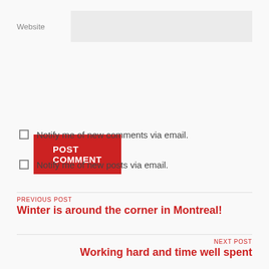Website
POST COMMENT
Notify me of new comments via email.
Notify me of new posts via email.
PREVIOUS POST
Winter is around the corner in Montreal!
NEXT POST
Working hard and time well spent